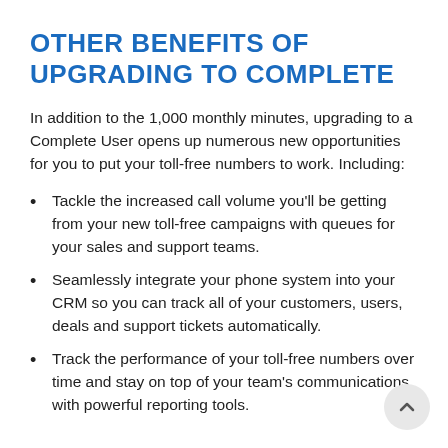OTHER BENEFITS OF UPGRADING TO COMPLETE
In addition to the 1,000 monthly minutes, upgrading to a Complete User opens up numerous new opportunities for you to put your toll-free numbers to work. Including:
Tackle the increased call volume you'll be getting from your new toll-free campaigns with queues for your sales and support teams.
Seamlessly integrate your phone system into your CRM so you can track all of your customers, users, deals and support tickets automatically.
Track the performance of your toll-free numbers over time and stay on top of your team's communications with powerful reporting tools.